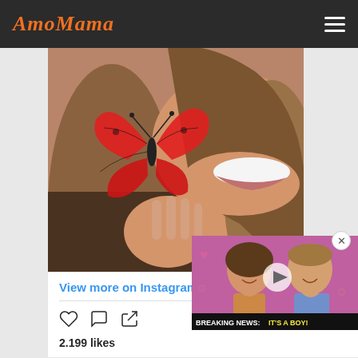AmoMama
[Figure (photo): Woman holding a red butterfly near her face, smiling, with long brown hair]
View more on Instagram
[Figure (screenshot): Video thumbnail showing a couple (Kate Middleton and Prince William) with breaking news banner 'BREAKING NEWS: IT'S A BOY!']
2.199 likes